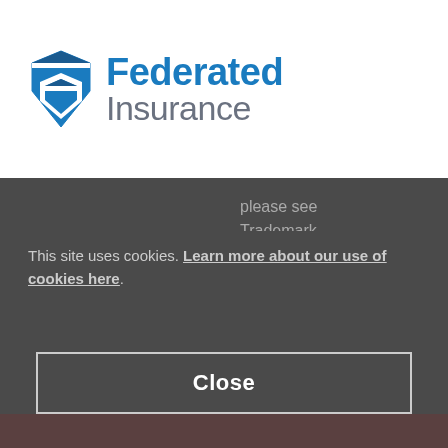[Figure (logo): Federated Insurance logo with shield icon in blue and gray, company name in blue and gray text]
please see Trademark Information.
Federated and Federated Insurance are
This site uses cookies. Learn more about our use of cookies here.
Close